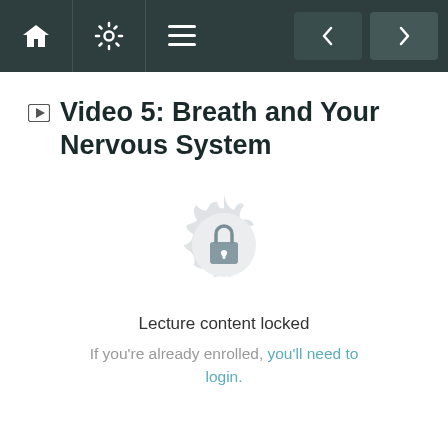Navigation bar with home, settings, menu, back and forward buttons
Video 5: Breath and Your Nervous System
[Figure (illustration): Decorative mandala/badge with a lock icon in the center, indicating locked content]
Lecture content locked
If you're already enrolled, you'll need to login.